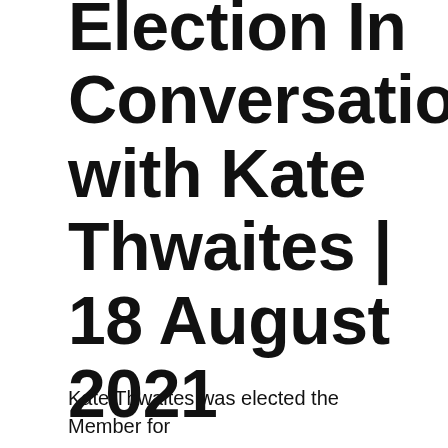Election In Conversation with Kate Thwaites | 18 August 2021
Kate Thwaites was elected the Member for